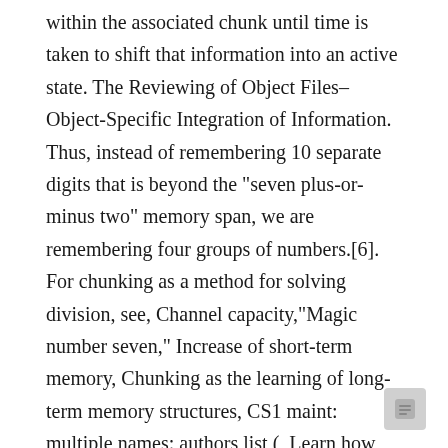within the associated chunk until time is taken to shift that information into an active state. The Reviewing of Object Files–Object-Specific Integration of Information. Thus, instead of remembering 10 separate digits that is beyond the "seven plus-or-minus two" memory span, we are remembering four groups of numbers.[6]. For chunking as a method for solving division, see, Channel capacity,"Magic number seven," Increase of short-term memory, Chunking as the learning of long-term memory structures, CS1 maint: multiple names: authors list (, Learn how and when to remove this template message, The Magical Number Seven, Plus or Minus Two: Some Limits on our Capacity for Processing Information (1956), The Magical Number Seven, Plus or Minus Two, The Magical Number Seven, Plus or Minus Two: Some Limits on Our Capacity for Processing Information, "The Role of Chunking and